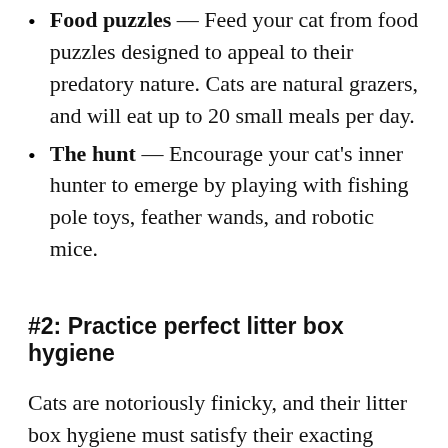Food puzzles — Feed your cat from food puzzles designed to appeal to their predatory nature. Cats are natural grazers, and will eat up to 20 small meals per day.
The hunt — Encourage your cat's inner hunter to emerge by playing with fishing pole toys, feather wands, and robotic mice.
#2: Practice perfect litter box hygiene
Cats are notoriously finicky, and their litter box hygiene must satisfy their exacting standards. A dirty litter box, or one that is poorly positioned, can instigate inappropriate elimination. Ensure your cat has multiple